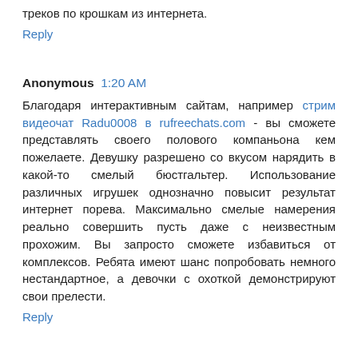треков по крошкам из интернета.
Reply
Anonymous  1:20 AM
Благодаря интерактивным сайтам, например стрим видеочат Radu0008 в rufreechats.com - вы сможете представлять своего полового компаньона кем пожелаете. Девушку разрешено со вкусом нарядить в какой-то смелый бюстгальтер. Использование различных игрушек однозначно повысит результат интернет порева. Максимально смелые намерения реально совершить пусть даже с неизвестным прохожим. Вы запросто сможете избавиться от комплексов. Ребята имеют шанс попробовать немного нестандартное, а девочки с охоткой демонстрируют свои прелести.
Reply
Anonymous  5:53 AM